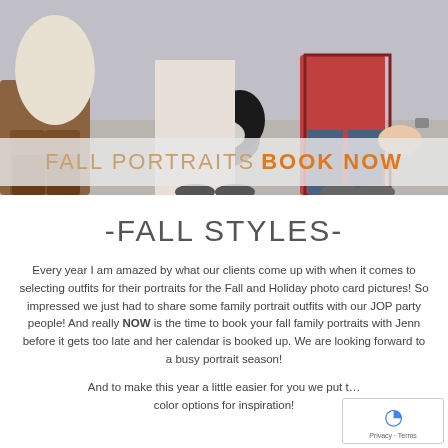[Figure (photo): Family portrait photo showing people sitting outdoors with a dog, wearing casual fall clothing including jeans and boots]
FALL PORTRAITS BOOK NOW
-FALL STYLES-
Every year I am amazed by what our clients come up with when it comes to selecting outfits for their portraits for the Fall and Holiday photo card pictures! So impressed we just had to share some family portrait outfits with our JOP party people! And really NOW is the time to book your fall family portraits with Jenn before it gets too late and her calendar is booked up. We are looking forward to a busy portrait season!
And to make this year a little easier for you we put t... color options for inspiration!